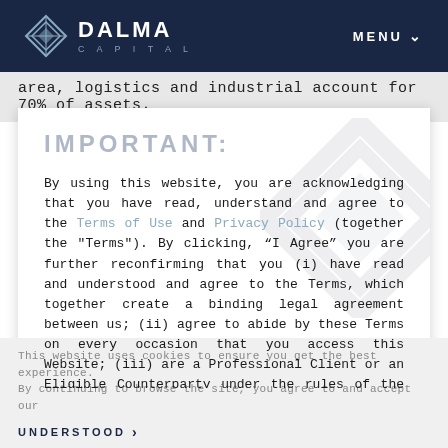DALMA CAPITAL  MENU
area, logistics and industrial account for 70% of assets.
IMPORTANT:
By using this website, you are acknowledging that you have read, understand and agree to the Terms of Use and Privacy Policy (together the "Terms"). By clicking, “I Agree” you are further reconfirming that you (i) have read and understood and agree to the Terms, which together create a binding legal agreement between us; (ii) agree to abide by these Terms on every occasion that you access this Website; (iii) are a Professional Client or an Eligible Counterparty under the rules of the Financial
This website uses cookies to ensure you get the best experience. By continuing to browse the site, you agree to and accept our
UNDERSTOOD ›